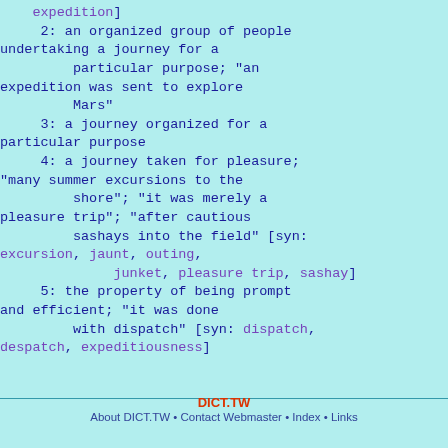2: an organized group of people undertaking a journey for a particular purpose; "an expedition was sent to explore Mars"
3: a journey organized for a particular purpose
4: a journey taken for pleasure; "many summer excursions to the shore"; "it was merely a pleasure trip"; "after cautious sashays into the field" [syn: excursion, jaunt, outing, junket, pleasure trip, sashay]
5: the property of being prompt and efficient; "it was done with dispatch" [syn: dispatch, despatch, expeditiousness]
DICT.TW
About DICT.TW • Contact Webmaster • Index • Links